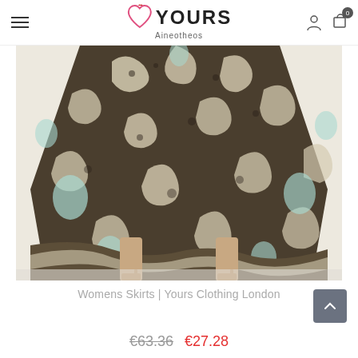YOURS Aineotheos
[Figure (photo): Product photo showing lower half of a woman wearing a floor-length paisley print maxi skirt in brown, white and light blue tones, with nude heeled sandals, on a light grey background.]
Womens Skirts | Yours Clothing London
€63.36  €27.28